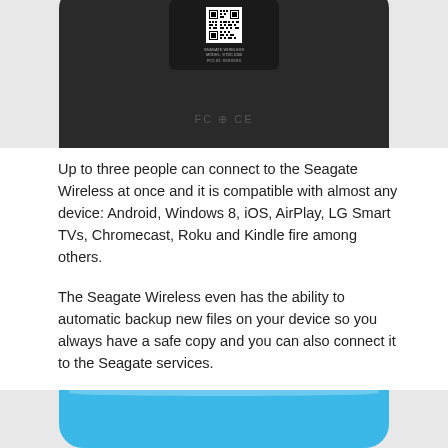[Figure (photo): Bottom/back view of a dark grey/black Seagate Wireless device with a label sticker and QR code visible, showing regulatory marks including FC and CE logos]
Up to three people can connect to the Seagate Wireless at once and it is compatible with almost any device: Android, Windows 8, iOS, AirPlay, LG Smart TVs, Chromecast, Roku and Kindle fire among others.
The Seagate Wireless even has the ability to automatic backup new files on your device so you always have a safe copy and you can also connect it to the Seagate services.
[Figure (photo): Top view of a light blue Seagate Wireless device, showing its rounded rectangular form factor]